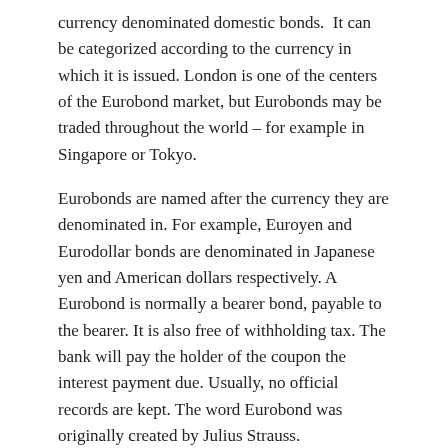currency denominated domestic bonds.  It can be categorized according to the currency in which it is issued. London is one of the centers of the Eurobond market, but Eurobonds may be traded throughout the world – for example in Singapore or Tokyo.
Eurobonds are named after the currency they are denominated in. For example, Euroyen and Eurodollar bonds are denominated in Japanese yen and American dollars respectively. A Eurobond is normally a bearer bond, payable to the bearer. It is also free of withholding tax. The bank will pay the holder of the coupon the interest payment due. Usually, no official records are kept. The word Eurobond was originally created by Julius Strauss.
The first European Eurobonds were issued in 1963 by Italian motorway network Autostrade. The $15 million six year loan was arranged by London bankers S. G. Warburg.
The majority of Eurobonds are now owned in ‘electronic’ rather than physical form. The bonds are held and traded within one of the clearing systems (Euroclear and Clearstream being the most